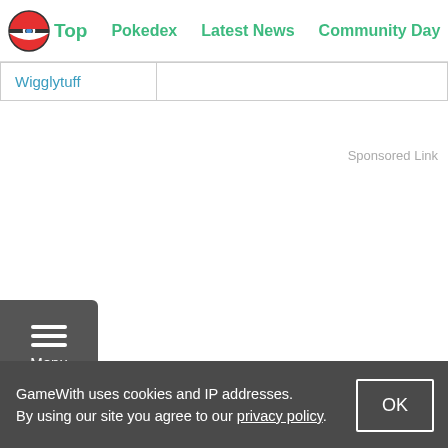Top | Pokedex | Latest News | Community Day | Tier L
| Wigglytuff |  |
Sponsored Link
Menu
GameWith uses cookies and IP addresses. By using our site you agree to our privacy policy.